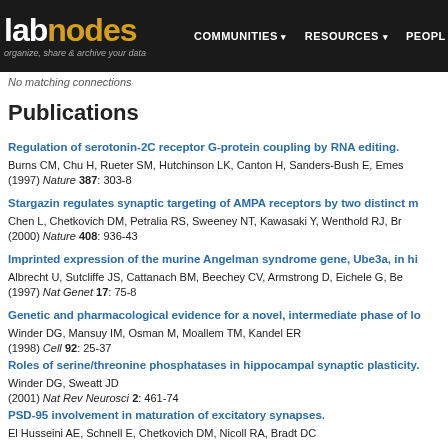labnodes | organize, share & archive your data | COMMUNITIES | RESOURCES | PEOPLE
No matching connections
Publications
Regulation of serotonin-2C receptor G-protein coupling by RNA editing.
Burns CM, Chu H, Rueter SM, Hutchinson LK, Canton H, Sanders-Bush E, Emes
(1997) Nature 387: 303-8
Stargazin regulates synaptic targeting of AMPA receptors by two distinct m
Chen L, Chetkovich DM, Petralia RS, Sweeney NT, Kawasaki Y, Wenthold RJ, Br
(2000) Nature 408: 936-43
Imprinted expression of the murine Angelman syndrome gene, Ube3a, in hi
Albrecht U, Sutcliffe JS, Cattanach BM, Beechey CV, Armstrong D, Eichele G, Be
(1997) Nat Genet 17: 75-8
Genetic and pharmacological evidence for a novel, intermediate phase of lo
Winder DG, Mansuy IM, Osman M, Moallem TM, Kandel ER
(1998) Cell 92: 25-37
Roles of serine/threonine phosphatases in hippocampal synaptic plasticity.
Winder DG, Sweatt JD
(2001) Nat Rev Neurosci 2: 461-74
PSD-95 involvement in maturation of excitatory synapses.
El Husseini AE, Schnell E, Chetkovich DM, Nicoll RA, Bradt DC